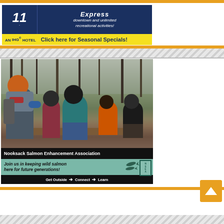[Figure (photo): Holiday Inn Express advertisement banner with IHG logo, text 'downtown and unlimited recreational activities!' and yellow bar 'Click here for Seasonal Specials!']
[Figure (photo): Nooksack Salmon Enhancement Association advertisement showing group of children and adults carrying a white bucket in a forested area, with overlay text 'Join us in keeping wild salmon here for future generations! Get Outside → Connect → Learn']